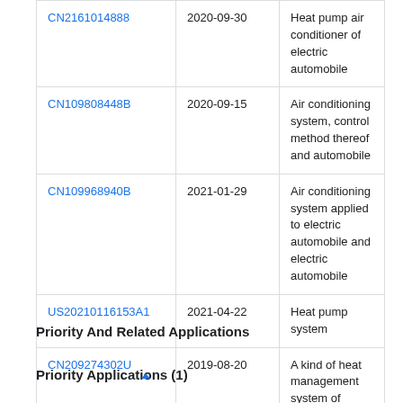| Patent ID | Date | Title |
| --- | --- | --- |
| CN2161014888 | 2020-09-30 | Heat pump air conditioner of electric automobile |
| CN109808448B | 2020-09-15 | Air conditioning system, control method thereof and automobile |
| CN109968940B | 2021-01-29 | Air conditioning system applied to electric automobile and electric automobile |
| US20210116153A1 | 2021-04-22 | Heat pump system |
| CN209274302U | 2019-08-20 | A kind of heat management system of electric vehicle |
| CN103158489A | 2013-06-19 | Car air-conditioning system |
Priority And Related Applications
Priority Applications (1)